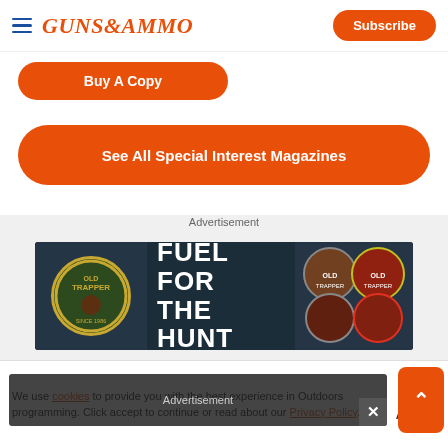GUNS&AMMO — Subscribe | Buy A Copy
Buy A Copy
See All Special Interest Magazines
Advertisement
[Figure (illustration): Old Trapper Fuel For The Hunt advertisement banner]
[Figure (illustration): Old Trapper advertisement banner (partially obscured by overlay showing Advertisement label and close button)]
We use cookies to provide you with the best experience in Outdoors programming. Click accept to continue or read about our Privacy Policy.